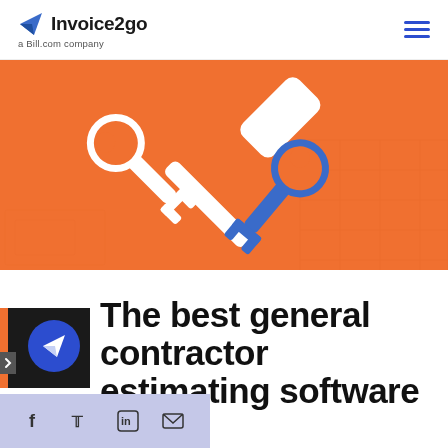Invoice2go — a Bill.com company
[Figure (illustration): Orange hero banner with white and blue crossed hammer and wrench tools icon on orange background with subtle grid pattern]
The best general contractor estimating software 2
[Figure (infographic): Social share bar with Facebook, Twitter, LinkedIn, and email icons on light purple/lavender background, plus floating blue circular paper-plane share button]